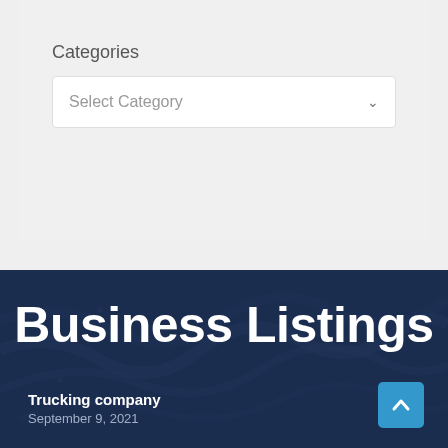Categories
Select Category
Business Listings
Trucking company
September 9, 2021